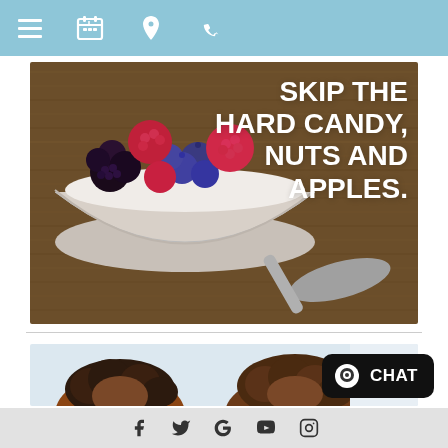Navigation bar with hamburger menu, calendar, location, and phone icons
[Figure (photo): Bowl of yogurt with raspberries, blackberries, and blueberries on a wooden surface with a spoon, with text overlay: SKIP THE HARD CANDY, NUTS AND APPLES.]
[Figure (photo): Photo of people from behind, partially cropped at bottom of page]
Social media icons: Facebook, Twitter, Google, YouTube, Instagram. Chat button on right.